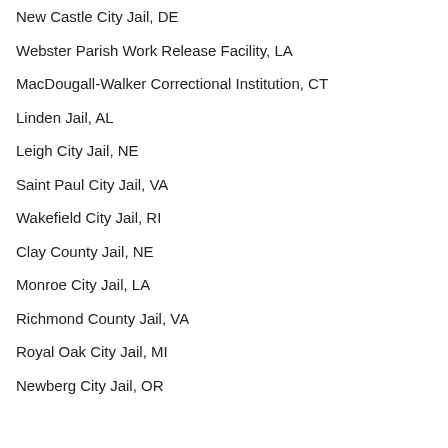New Castle City Jail, DE
Webster Parish Work Release Facility, LA
MacDougall-Walker Correctional Institution, CT
Linden Jail, AL
Leigh City Jail, NE
Saint Paul City Jail, VA
Wakefield City Jail, RI
Clay County Jail, NE
Monroe City Jail, LA
Richmond County Jail, VA
Royal Oak City Jail, MI
Newberg City Jail, OR